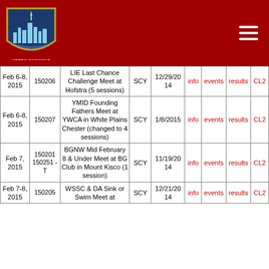[Figure (logo): Metro Swimming shield logo with city skyline]
| Date | ID | Description | Type | Reg | info | events | results | CL |
| --- | --- | --- | --- | --- | --- | --- | --- | --- |
| Feb 6-8, 2015 | 150206 | LIE Last Chance Challenge Meet at Hofstra (5 sessions) | SCY | 12/29/2014 | info | events | results | CL2 |
| Feb 6-8, 2015 | 150207 | YMID Founding Fathers Meet at YWCA in White Plains Chester (changed to 4 sessions) | SCY | 1/8/2015 | info | events | results | CL2 |
| Feb 7, 2015 | 150201 150251-T | BGNW Mid February 8 & Under Meet at BG Club in Mount Kisco (1 session) | SCY | 11/19/2014 | info | events | results | CL2 |
| Feb 7-8, 2015 | 150205 | WSSC & DA Sink or Swim Meet at | SCY | 12/21/2014 | info | events | results | CL2 |